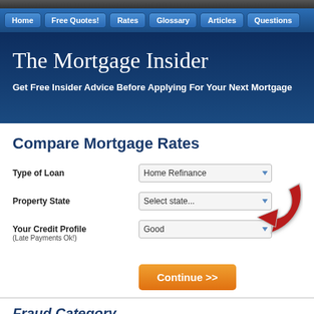Home | Free Quotes! | Rates | Glossary | Articles | Questions
The Mortgage Insider
Get Free Insider Advice Before Applying For Your Next Mortgage
Compare Mortgage Rates
Type of Loan: Home Refinance (dropdown)
Property State: Select state... (dropdown)
Your Credit Profile (Late Payments Ok!): Good (dropdown)
Continue >>
Fraud Category